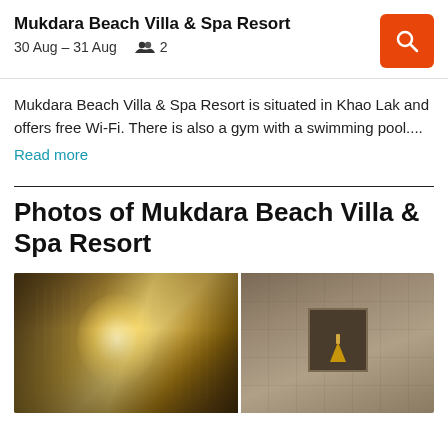Mukdara Beach Villa & Spa Resort
30 Aug – 31 Aug   2
Mukdara Beach Villa & Spa Resort is situated in Khao Lak and offers free Wi-Fi. There is also a gym with a swimming pool....
Read more
Photos of Mukdara Beach Villa & Spa Resort
[Figure (photo): Two hotel photos side by side: left shows a water feature or rain shower with warm golden backlight; right shows a stone-tiled wall with a recessed niche containing a decorative candle or flame.]